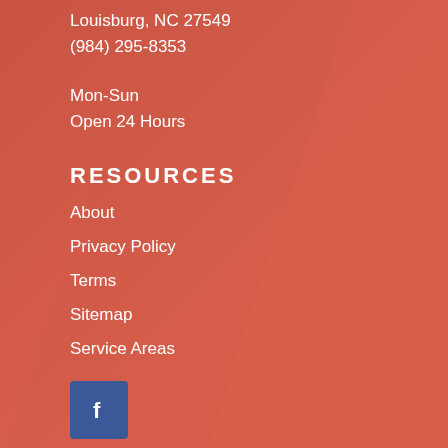Louisburg, NC 27549
(984) 295-8353
Mon-Sun
Open 24 Hours
RESOURCES
About
Privacy Policy
Terms
Sitemap
Service Areas
[Figure (logo): Facebook social media icon button — blue square with white 'f' logo]